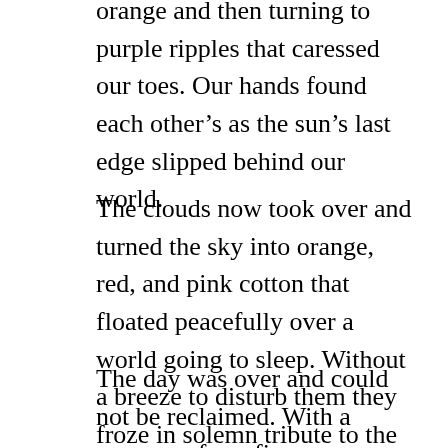orange and then turning to purple ripples that caressed our toes. Our hands found each other’s as the sun’s last edge slipped behind our world.
The clouds now took over and turned the sky into orange, red, and pink cotton that floated peacefully over a world going to sleep. Without a breeze to disturb them they froze in solemn tribute to the descending orb and let themselves change moment by moment, treasuring the warm rays for as long as they were offered.
The day was over and could not be reclaimed. With a squeeze of our fingers we agreed that our journey to this moment was the right choice in a world gone mad. The sun and her sister clouds